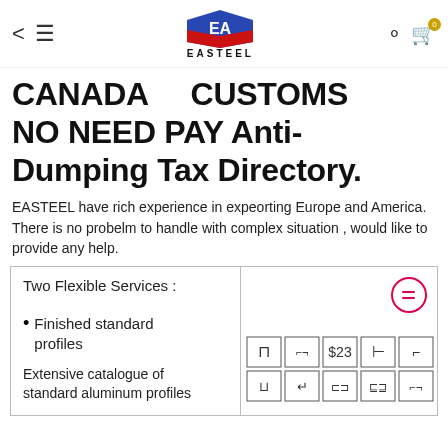EASTEEL navigation header
CANADA CUSTOMS NO NEED PAY Anti-Dumping Tax Directory.
EASTEEL have rich experience in expeorting Europe and America. There is no probelm to handle with complex situation , would like to provide any help.
| Two Flexible Services : |  |
| • Finished standard profiles |  |
| Extensive catalogue of standard aluminum profiles |  |
[Figure (illustration): Grid of aluminum profile cross-section icons in two rows of five, showing various standard aluminum extrusion profile shapes]